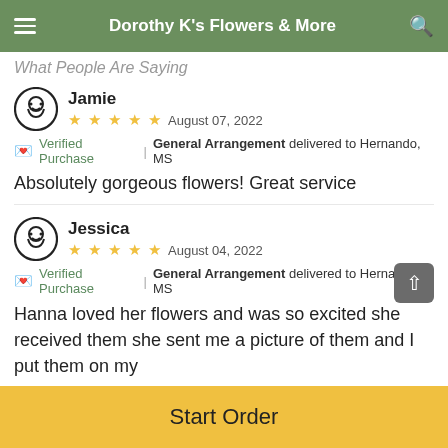Dorothy K's Flowers & More
What People Are Saying
Jamie
★★★★★ August 07, 2022
🌷 Verified Purchase | General Arrangement delivered to Hernando, MS
Absolutely gorgeous flowers! Great service
Jessica
★★★★★ August 04, 2022
🌷 Verified Purchase | General Arrangement delivered to Hernando, MS
Hanna loved her flowers and was so excited she received them she sent me a picture of them and I put them on my